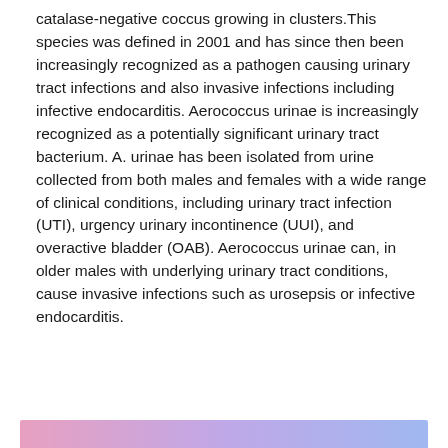catalase-negative coccus growing in clusters. This species was defined in 2001 and has since then been increasingly recognized as a pathogen causing urinary tract infections and also invasive infections including infective endocarditis. Aerococcus urinae is increasingly recognized as a potentially significant urinary tract bacterium. A. urinae has been isolated from urine collected from both males and females with a wide range of clinical conditions, including urinary tract infection (UTI), urgency urinary incontinence (UUI), and overactive bladder (OAB). Aerococcus urinae can, in older males with underlying urinary tract conditions, cause invasive infections such as urosepsis or infective endocarditis.
[Figure (other): Gradient color bar at bottom of page, fading from pink/rose on the left through purple to blue on the right]